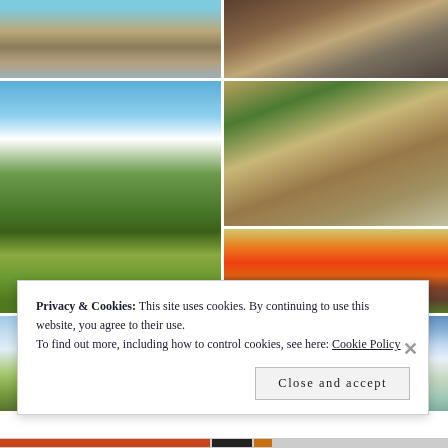[Figure (photo): Waterfall with rocky stream, top-left photo]
[Figure (photo): People standing near equipment indoors, top-right photo]
[Figure (photo): Mountain meadow with pine trees and blue sky, large middle-left photo]
[Figure (photo): Outdoor patio with flowers and wooden furniture, middle-right top photo]
[Figure (photo): Campfire with marshmallow roasting, middle-right bottom photo]
[Figure (photo): Sky and green fields, bottom-left photo]
[Figure (photo): Cloudy sky landscape, bottom-right photo]
Privacy & Cookies: This site uses cookies. By continuing to use this website, you agree to their use.
To find out more, including how to control cookies, see here: Cookie Policy
Close and accept